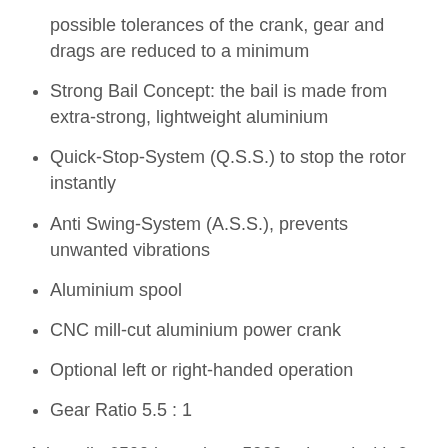possible tolerances of the crank, gear and drags are reduced to a minimum
Strong Bail Concept: the bail is made from extra-strong, lightweight aluminium
Quick-Stop-System (Q.S.S.) to stop the rotor instantly
Anti Swing-System (A.S.S.), prevents unwanted vibrations
Aluminium spool
CNC mill-cut aluminium power crank
Optional left or right-handed operation
Gear Ratio 5.5 : 1
Adrenalin 6500 is a robust 5000 spin reel with 6 ball bearings, engineered for spin fishing and heavy